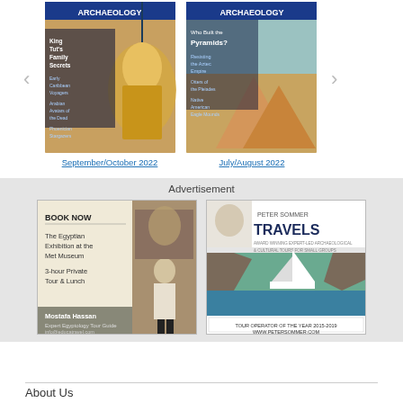[Figure (illustration): Two Archaeology magazine covers side by side with navigation arrows. Left: September/October 2022 issue featuring King Tut's Family Secrets. Right: July/August 2022 issue featuring Who Built the Pyramids?]
September/October 2022
July/August 2022
Advertisement
[Figure (illustration): Advertisement for Egyptian Exhibition at the Met Museum - Book Now, 3-hour Private Tour & Lunch, Mostafa Hassan Expert Egyptology Tour Guide]
[Figure (illustration): Advertisement for Peter Sommer Travels - Award winning expert-led archaeological & cultural tours for small groups. Tour Operator of the Year 2015-2019. www.petersommer.com]
About Us